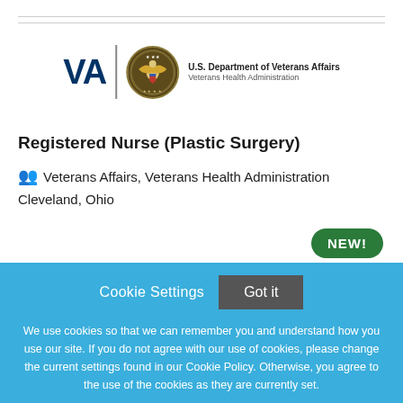[Figure (logo): VA U.S. Department of Veterans Affairs, Veterans Health Administration logo with seal]
Registered Nurse (Plastic Surgery)
Veterans Affairs, Veterans Health Administration
Cleveland, Ohio
NEW!
Cookie Settings  Got it
We use cookies so that we can remember you and understand how you use our site. If you do not agree with our use of cookies, please change the current settings found in our Cookie Policy. Otherwise, you agree to the use of the cookies as they are currently set.